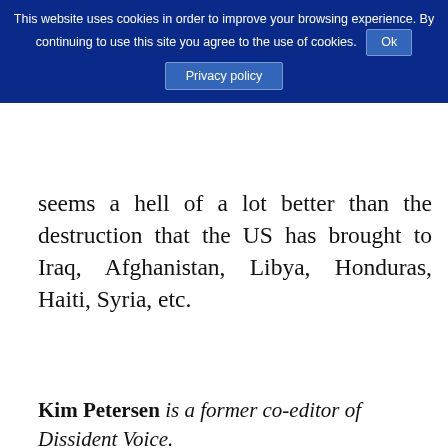This website uses cookies in order to improve your browsing experience. By continuing to use this site you agree to the use of cookies. Ok
Privacy policy
seems a hell of a lot better than the destruction that the US has brought to Iraq, Afghanistan, Libya, Honduras, Haiti, Syria, etc.
Kim Petersen is a former co-editor of Dissident Voice.
Related
[Figure (photo): A military parade or gathering with Taiwan (Republic of China) flags visible.]
Washington's Shifting Taiwan
[Figure (photo): A man in a suit speaking at an IISS event with blue background signage.]
US Outlines Continued